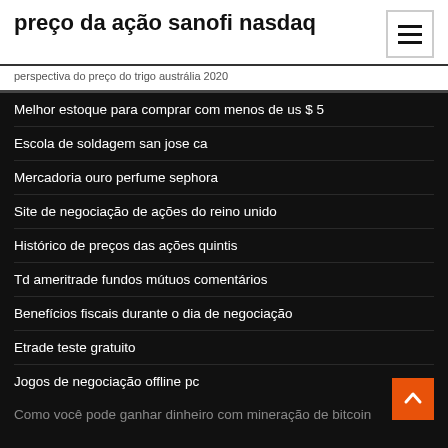preço da ação sanofi nasdaq
perspectiva do preço do trigo austrália 2020
Melhor estoque para comprar com menos de us $ 5
Escola de soldagem san jose ca
Mercadoria ouro perfume sephora
Site de negociação de ações do reino unido
Histórico de preços das ações quintis
Td ameritrade fundos mútuos comentários
Benefícios fiscais durante o dia de negociação
Etrade teste gratuito
Jogos de negociação offline pc
Como você pode ganhar dinheiro com mineração de bitcoin